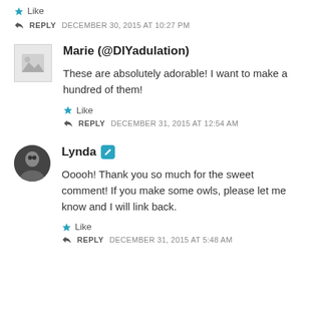★ Like
↩ REPLY   DECEMBER 30, 2015 AT 10:27 PM
Marie (@DIYadulation)
These are absolutely adorable! I want to make a hundred of them!
★ Like
↩ REPLY   DECEMBER 31, 2015 AT 12:54 AM
Lynda
Ooooh! Thank you so much for the sweet comment! If you make some owls, please let me know and I will link back.
★ Like
↩ REPLY   DECEMBER 31, 2015 AT 5:48 AM